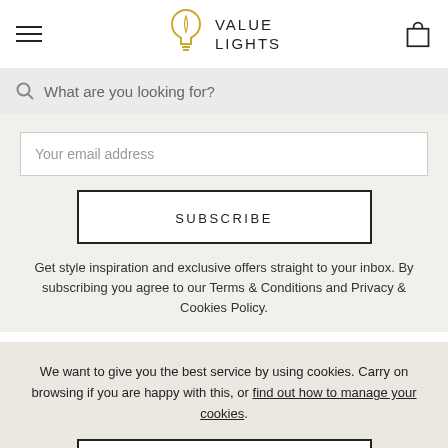VALUE LIGHTS
What are you looking for?
Your email address
SUBSCRIBE
Get style inspiration and exclusive offers straight to your inbox. By subscribing you agree to our Terms & Conditions and Privacy & Cookies Policy.
We want to give you the best service by using cookies. Carry on browsing if you are happy with this, or find out how to manage your cookies.
ALLOW COOKIES